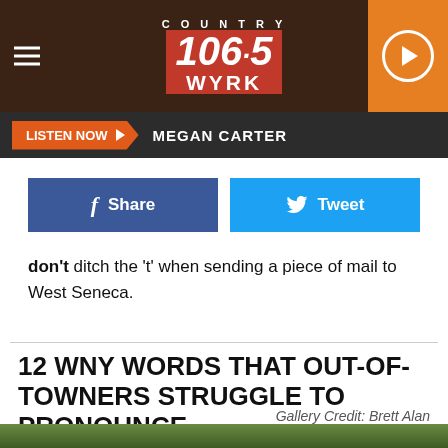[Figure (screenshot): Country 106.5 WYRK radio station logo on dark brown wood-grain header background with hamburger menu icon on left and orange play button on right]
LISTEN NOW  MEGAN CARTER
[Figure (screenshot): Facebook Share button (dark blue) and Twitter Tweet button (light blue) side by side]
don't ditch the 't' when sending a piece of mail to West Seneca.
12 WNY WORDS THAT OUT-OF-TOWNERS STRUGGLE TO PRONOUNCE
Gallery Credit: Brett Alan
[Figure (photo): Partial bottom strip showing outdoor greenery/foliage]